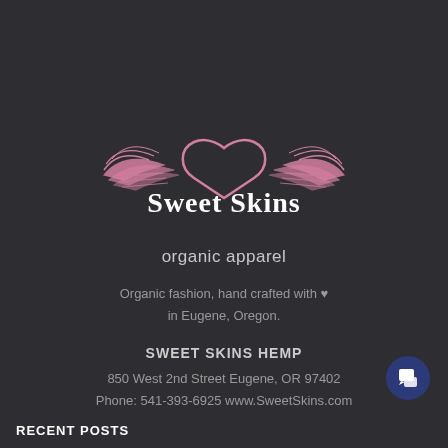[Figure (logo): Sweet Skins logo with pink winged heart and stylized text 'Sweet Skins' in white gothic font on dark background]
organic apparel
Organic fashion, hand crafted with ♥ in Eugene, Oregon.
SWEET SKINS HEMP
850 West 2nd Street Eugene, OR 97402
Phone: 541-393-6925 www.SweetSkins.com
RECENT POSTS